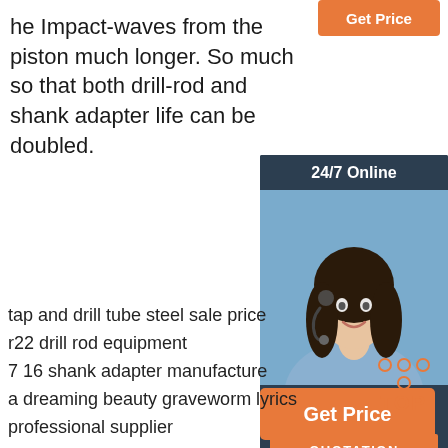[Figure (other): Orange 'Get Price' button at top right (partial view)]
he Impact-waves from the piston much longer. So much so that both drill-rod and shank adapter life can be doubled.
[Figure (other): Sidebar panel with '24/7 Online' header, photo of woman with headset, 'Click here for free chat!' text, and orange QUOTATION button]
[Figure (other): Orange 'Get Price' button in middle of page]
tap and drill tube steel sale price
r22 drill rod equipment
7 16 shank adapter manufacture
a dreaming beauty graveworm lyrics
professional supplier
[Figure (other): Orange outlined 'TOP' button with dot pattern above]